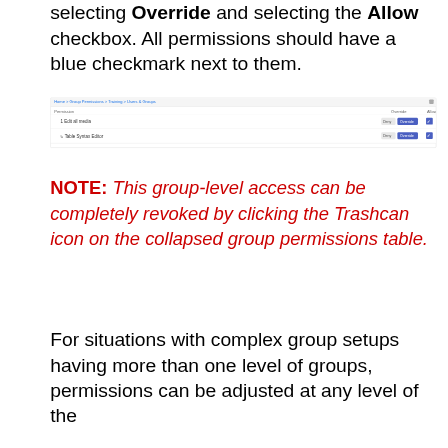selecting Override and selecting the Allow checkbox. All permissions should have a blue checkmark next to them.
[Figure (screenshot): Screenshot of a permissions table UI showing two permission rows, each with an 'Override' button and a blue checkbox checked in the Allow column.]
NOTE: This group-level access can be completely revoked by clicking the Trashcan icon on the collapsed group permissions table.
For situations with complex group setups having more than one level of groups, permissions can be adjusted at any level of the...